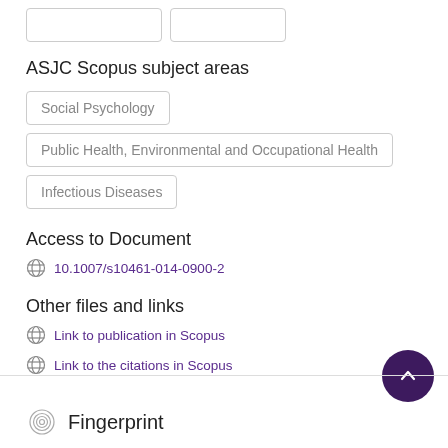ASJC Scopus subject areas
Social Psychology
Public Health, Environmental and Occupational Health
Infectious Diseases
Access to Document
10.1007/s10461-014-0900-2
Other files and links
Link to publication in Scopus
Link to the citations in Scopus
Fingerprint